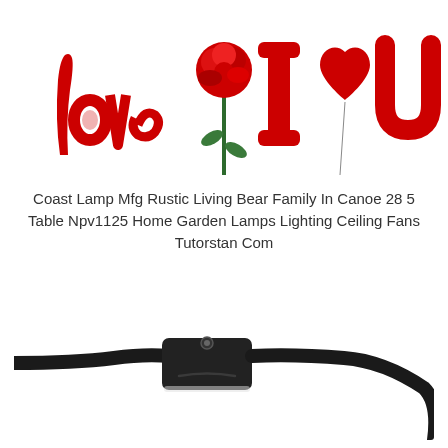[Figure (photo): Red foil balloons spelling 'Love I Heart U' with a red rose in the center, on a white background.]
Coast Lamp Mfg Rustic Living Bear Family In Canoe 28 5 Table Npv1125 Home Garden Lamps Lighting Ceiling Fans Tutorstan Com
[Figure (photo): Close-up photo of a black electrical cable with an inline on/off switch (rocker switch box), on a white background.]